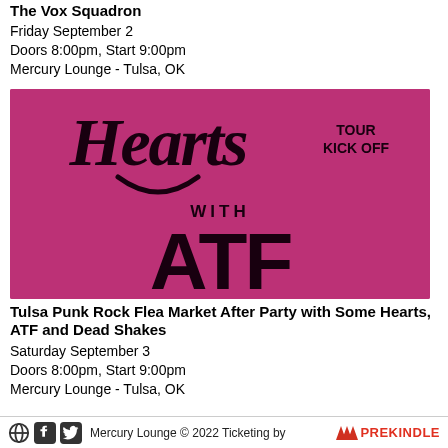The Vox Squadron
Friday September 2
Doors 8:00pm, Start 9:00pm
Mercury Lounge - Tulsa, OK
[Figure (illustration): Pink/magenta concert poster with stylized script text reading 'Hearts', 'TOUR KICK OFF', 'WITH', and large block letters 'ATF' on a distressed pink background]
Tulsa Punk Rock Flea Market After Party with Some Hearts, ATF and Dead Shakes
Saturday September 3
Doors 8:00pm, Start 9:00pm
Mercury Lounge - Tulsa, OK
Mercury Lounge © 2022 Ticketing by PREKINDLE